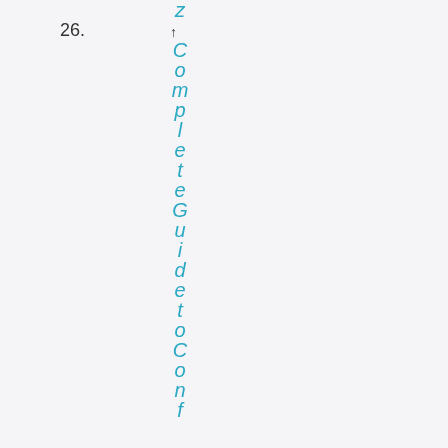26. ↑ Complete Guide to Con...